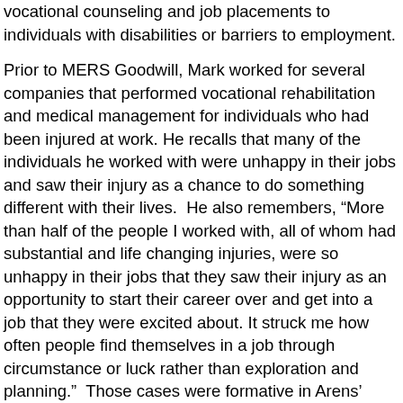vocational counseling and job placements to individuals with disabilities or barriers to employment.
Prior to MERS Goodwill, Mark worked for several companies that performed vocational rehabilitation and medical management for individuals who had been injured at work. He recalls that many of the individuals he worked with were unhappy in their jobs and saw their injury as a chance to do something different with their lives.  He also remembers, “More than half of the people I worked with, all of whom had substantial and life changing injuries, were so unhappy in their jobs that they saw their injury as an opportunity to start their career over and get into a job that they were excited about. It struck me how often people find themselves in a job through circumstance or luck rather than exploration and planning.”  Those cases were formative in Arens’ understanding of the importance